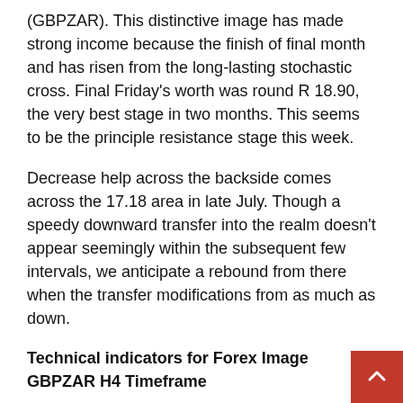(GBPZAR). This distinctive image has made strong income because the finish of final month and has risen from the long-lasting stochastic cross. Final Friday's worth was round R 18.90, the very best stage in two months. This seems to be the principle resistance stage this week.
Decrease help across the backside comes across the 17.18 area in late July. Though a speedy downward transfer into the realm doesn't appear seemingly within the subsequent few intervals, we anticipate a rebound from there when the transfer modifications from as much as down.
Technical indicators for Forex Image GBPZAR H4 Timeframe
We've got a typical set of (shifting averages) with 50, 100 and 200 easy interval settings and so they all give fairly